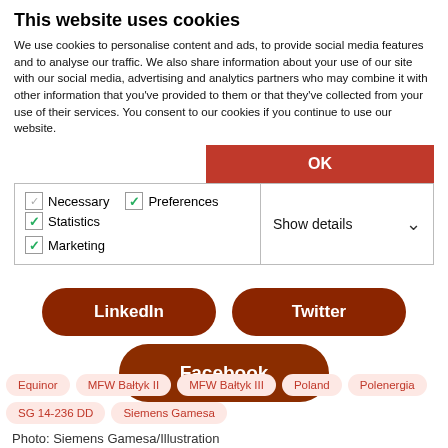This website uses cookies
We use cookies to personalise content and ads, to provide social media features and to analyse our traffic. We also share information about your use of our site with our social media, advertising and analytics partners who may combine it with other information that you've provided to them or that they've collected from your use of their services. You consent to our cookies if you continue to use our website.
[Figure (screenshot): Cookie consent banner with OK button and checkboxes for Necessary, Preferences, Statistics, Marketing categories, and a Show details dropdown.]
[Figure (infographic): Dark red rounded button pills for LinkedIn, Twitter, and Facebook social media sharing.]
Equinor
MFW Bałtyk II
MFW Bałtyk III
Poland
Polenergia
SG 14-236 DD
Siemens Gamesa
Photo: Siemens Gamesa/Illustration